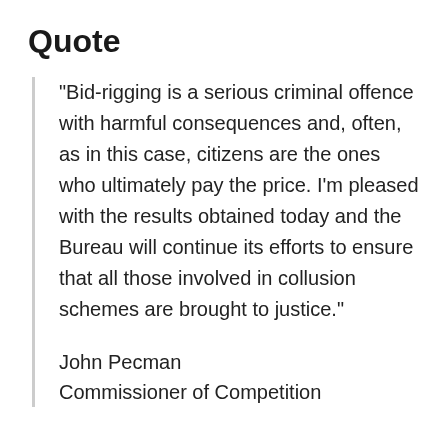Quote
"Bid-rigging is a serious criminal offence with harmful consequences and, often, as in this case, citizens are the ones who ultimately pay the price. I'm pleased with the results obtained today and the Bureau will continue its efforts to ensure that all those involved in collusion schemes are brought to justice."
John Pecman
Commissioner of Competition